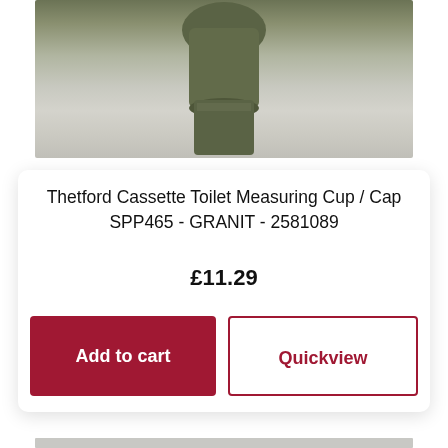[Figure (photo): Partial product photo showing a dark olive/green cap or measuring cup sitting on a grey textured surface, cropped at the top]
Thetford Cassette Toilet Measuring Cup / Cap SPP465 - GRANIT - 2581089
£11.29
Add to cart
Quickview